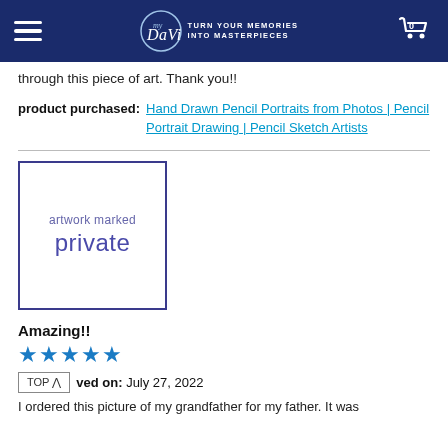myDaVinci – TURN YOUR MEMORIES INTO MASTERPIECES
through this piece of art. Thank you!!
product purchased: Hand Drawn Pencil Portraits from Photos | Pencil Portrait Drawing | Pencil Sketch Artists
[Figure (other): Artwork marked private placeholder box with border]
Amazing!!
★★★★★
Reviewed on: July 27, 2022
I ordered this picture of my grandfather for my father. It was